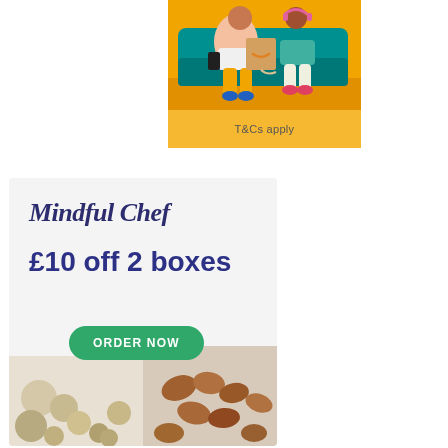[Figure (illustration): Amazon promotional illustration showing two people sitting on a couch with an Amazon delivery box, one holding a phone. Orange/teal color scheme with 'T&Cs apply' text at bottom.]
[Figure (infographic): Mindful Chef advertisement with navy blue script logo text, '£10 off 2 boxes' offer in dark blue bold text, a green 'ORDER NOW' button, and food photography showing nuts/grains on the left and roasted potatoes on the right.]